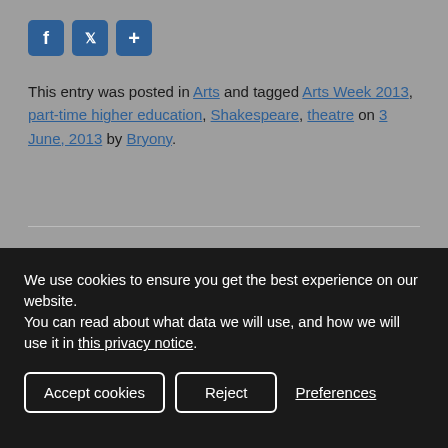[Figure (other): Social media share buttons: Facebook (f), Twitter (bird), and a share (+) icon, each in a blue rounded square.]
This entry was posted in Arts and tagged Arts Week 2013, part-time higher education, Shakespeare, theatre on 3 June, 2013 by Bryony.
We use cookies to ensure you get the best experience on our website.
You can read about what data we will use, and how we will use it in this privacy notice.
Accept cookies  Reject  Preferences